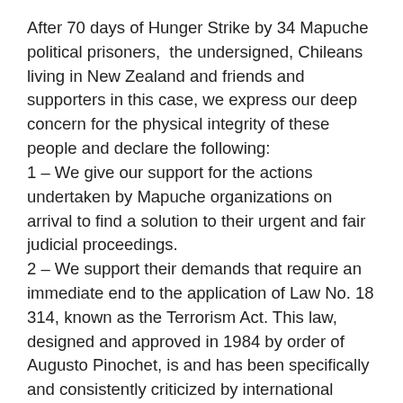After 70 days of Hunger Strike by 34 Mapuche political prisoners,  the undersigned, Chileans living in New Zealand and friends and supporters in this case, we express our deep concern for the physical integrity of these people and declare the following:
1 – We give our support for the actions undertaken by Mapuche organizations on arrival to find a solution to their urgent and fair judicial proceedings.
2 – We support their demands that require an immediate end to the application of Law No. 18 314, known as the Terrorism Act. This law, designed and approved in 1984 by order of Augusto Pinochet, is and has been specifically and consistently criticized by international organizations, as reflected in the latest report by the Human Rights Council to the General Assembly of the United Nations on 14 February, 2009 by Finn Martin Scheinin, Special